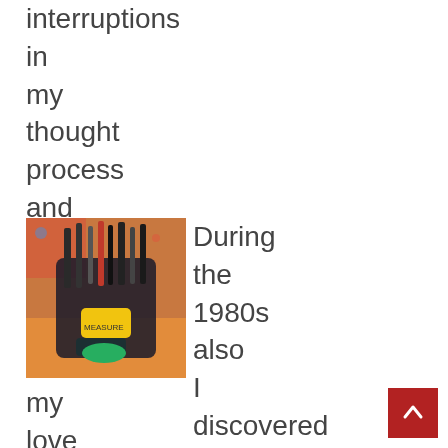interruptions
in
my
thought
process
and
workflow.
[Figure (photo): A collection of tools and markers in a holder, with colorful fabric in the background]
During
the
1980s
also
I
discovered
my
love
for